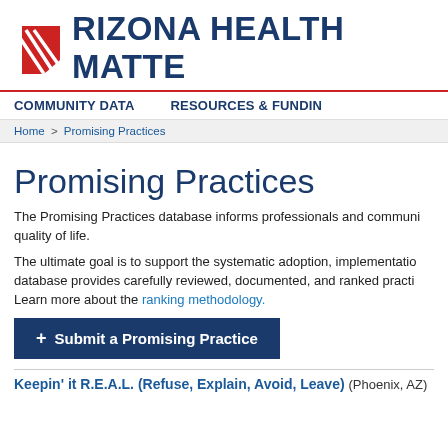ARIZONA HEALTH MATTERS
COMMUNITY DATA  RESOURCES & FUNDING
Home > Promising Practices
Promising Practices
The Promising Practices database informs professionals and communities about evidence-based strategies shown to improve health and quality of life.
The ultimate goal is to support the systematic adoption, implementation, and sustainability of these practices. The database provides carefully reviewed, documented, and ranked practices. Learn more about the ranking methodology.
Submit a Promising Practice
Keepin' it R.E.A.L. (Refuse, Explain, Avoid, Leave) (Phoenix, AZ)